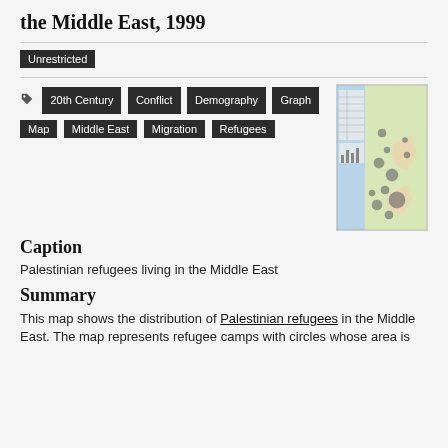the Middle East, 1999
Unrestricted
20th Century
Conflict
Demography
Graph
Map
Middle East
Migration
Refugees
[Figure (map): Thumbnail map of Palestinian refugees in the Middle East, showing refugee camps with circles.]
Caption
Palestinian refugees living in the Middle East
Summary
This map shows the distribution of Palestinian refugees in the Middle East. The map represents refugee camps with circles whose area is